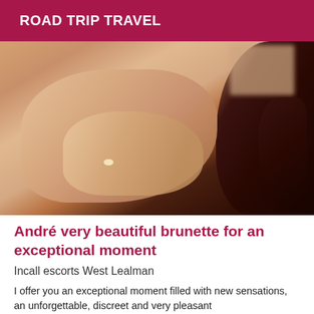ROAD TRIP TRAVEL
[Figure (photo): Close-up photo of a woman with dark hair, face pixelated/blurred for anonymity, showing shoulder and hand with a ring.]
André very beautiful brunette for an exceptional moment
Incall escorts West Lealman
I offer you an exceptional moment filled with new sensations, an unforgettable, discreet and very pleasant